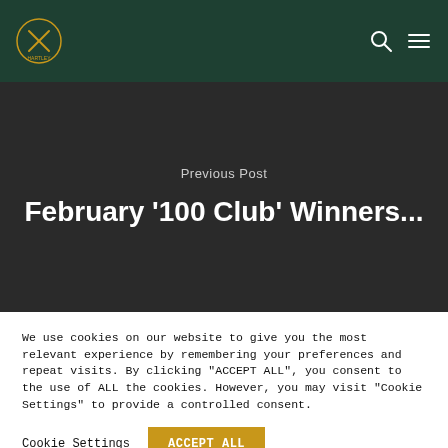Navigation bar with logo, search icon, and menu icon
Previous Post
February '100 Club' Winners...
We use cookies on our website to give you the most relevant experience by remembering your preferences and repeat visits. By clicking "ACCEPT ALL", you consent to the use of ALL the cookies. However, you may visit "Cookie Settings" to provide a controlled consent.
Cookie Settings | ACCEPT ALL